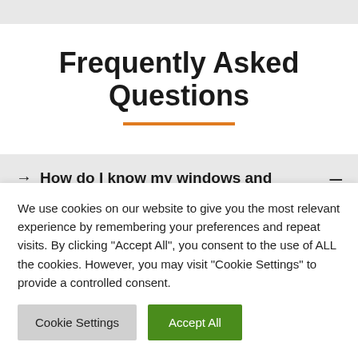Frequently Asked Questions
→ How do I know my windows and —
We use cookies on our website to give you the most relevant experience by remembering your preferences and repeat visits. By clicking "Accept All", you consent to the use of ALL the cookies. However, you may visit "Cookie Settings" to provide a controlled consent.
Cookie Settings | Accept All